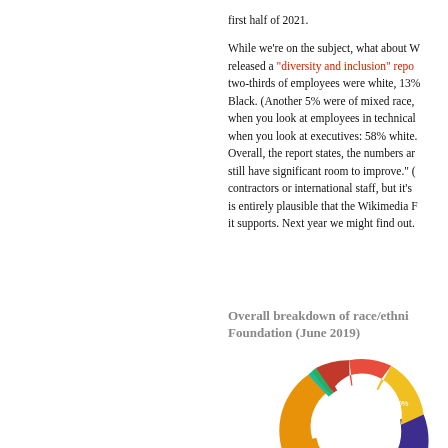first half of 2021.

While we're on the subject, what about W… released a "diversity and inclusion" repo… two-thirds of employees were white, 13%… Black. (Another 5% were of mixed race,… when you look at employees in technical… when you look at executives: 58% white… Overall, the report states, the numbers ar… still have significant room to improve." (… contractors or international staff, but it's… is entirely plausible that the Wikimedia F… it supports. Next year we might find out.
[Figure (donut-chart): Overall breakdown of race/ethnicity — Foundation (June 2019)]